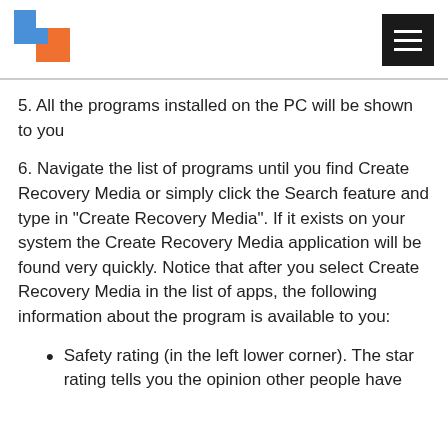[Logo] [Hamburger menu button]
5. All the programs installed on the PC will be shown to you
6. Navigate the list of programs until you find Create Recovery Media or simply click the Search feature and type in "Create Recovery Media". If it exists on your system the Create Recovery Media application will be found very quickly. Notice that after you select Create Recovery Media in the list of apps, the following information about the program is available to you:
Safety rating (in the left lower corner). The star rating tells you the opinion other people have